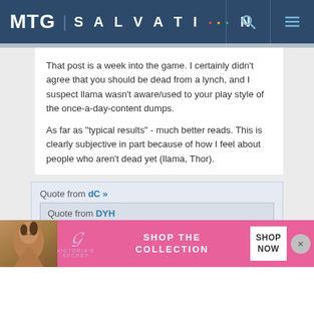MTG | SALVATION
That post is a week into the game. I certainly didn't agree that you should be dead from a lynch, and I suspect llama wasn't aware/used to your play style of the once-a-day-content dumps.
As far as "typical results" - much better reads. This is clearly subjective in part because of how I feel about people who aren't dead yet (llama, Thor).
Quote from dC »
Quote from DYH
[Figure (screenshot): Victoria's Secret advertisement banner at the bottom of the page with pink background, model, VS logo, 'SHOP THE COLLECTION' text, and 'SHOP NOW' button]